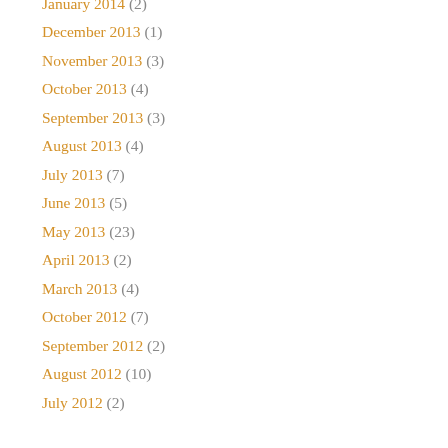January 2014 (2)
December 2013 (1)
November 2013 (3)
October 2013 (4)
September 2013 (3)
August 2013 (4)
July 2013 (7)
June 2013 (5)
May 2013 (23)
April 2013 (2)
March 2013 (4)
October 2012 (7)
September 2012 (2)
August 2012 (10)
July 2012 (2)